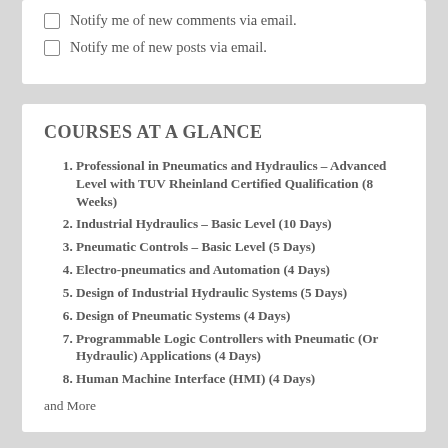Notify me of new comments via email.
Notify me of new posts via email.
COURSES AT A GLANCE
Professional in Pneumatics and Hydraulics – Advanced Level with TUV Rheinland Certified Qualification (8 Weeks)
Industrial Hydraulics – Basic Level (10 Days)
Pneumatic Controls – Basic Level (5 Days)
Electro-pneumatics and Automation (4 Days)
Design of Industrial Hydraulic Systems (5 Days)
Design of Pneumatic Systems (4 Days)
Programmable Logic Controllers with Pneumatic (Or Hydraulic) Applications (4 Days)
Human Machine Interface (HMI) (4 Days)
and More